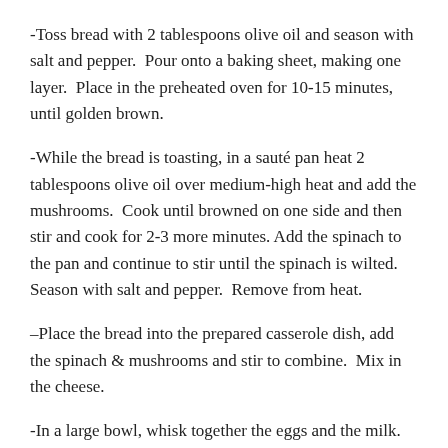-Toss bread with 2 tablespoons olive oil and season with salt and pepper.  Pour onto a baking sheet, making one layer.  Place in the preheated oven for 10-15 minutes, until golden brown.
-While the bread is toasting, in a sauté pan heat 2 tablespoons olive oil over medium-high heat and add the mushrooms.  Cook until browned on one side and then stir and cook for 2-3 more minutes. Add the spinach to the pan and continue to stir until the spinach is wilted.  Season with salt and pepper.  Remove from heat.
–Place the bread into the prepared casserole dish, add the spinach & mushrooms and stir to combine.  Mix in the cheese.
-In a large bowl, whisk together the eggs and the milk.